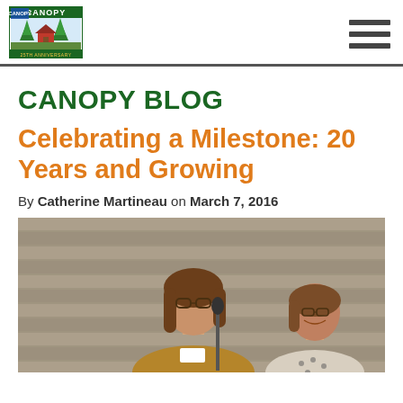CANOPY (logo) — navigation header with hamburger menu
CANOPY BLOG
Celebrating a Milestone: 20 Years and Growing
By Catherine Martineau on March 7, 2016
[Figure (photo): Two women standing and smiling at what appears to be a podium or event. One woman in the foreground wears glasses and a mustard/ochre top; the other woman stands behind wearing a patterned top. There is a microphone visible.]